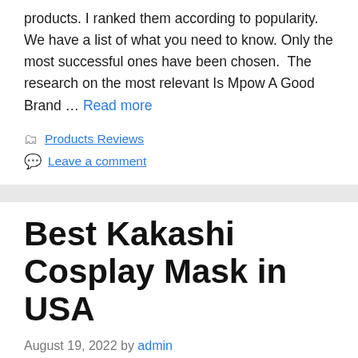products. I ranked them according to popularity. We have a list of what you need to know. Only the most successful ones have been chosen.  The research on the most relevant Is Mpow A Good Brand … Read more
Products Reviews
Leave a comment
Best Kakashi Cosplay Mask in USA
August 19, 2022 by admin